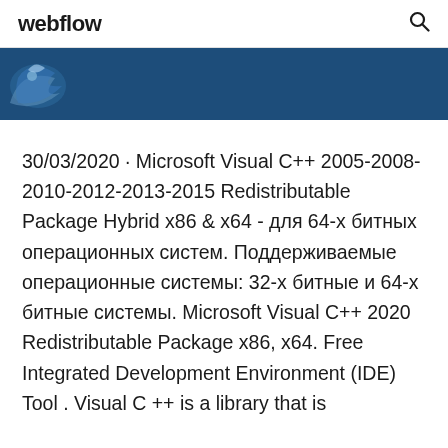webflow
[Figure (illustration): Dark blue banner with a partial bird/phoenix silhouette icon on the left side]
30/03/2020 · Microsoft Visual C++ 2005-2008-2010-2012-2013-2015 Redistributable Package Hybrid x86 & x64 - для 64-х битных операционных систем. Поддерживаемые операционные системы: 32-х битные и 64-х битные системы. Microsoft Visual C++ 2020 Redistributable Package x86, x64. Free Integrated Development Environment (IDE) Tool . Visual C ++ is a library that is